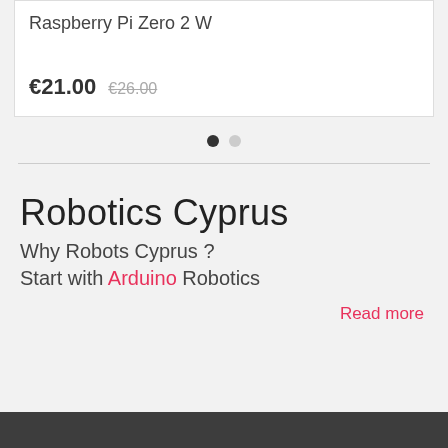Raspberry Pi Zero 2 W
€21.00  €26.00
[Figure (other): Carousel pagination dots: one dark (active) and one light (inactive)]
Robotics Cyprus
Why Robots Cyprus ?
Start with Arduino Robotics
Read more